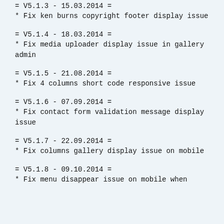= V5.1.3 - 15.03.2014 =
* Fix ken burns copyright footer display issue
= V5.1.4 - 18.03.2014 =
* Fix media uploader display issue in gallery admin
= V5.1.5 - 21.08.2014 =
* Fix 4 columns short code responsive issue
= V5.1.6 - 07.09.2014 =
* Fix contact form validation message display issue
= V5.1.7 - 22.09.2014 =
* Fix columns gallery display issue on mobile
= V5.1.8 - 09.10.2014 =
* Fix menu disappear issue on mobile when